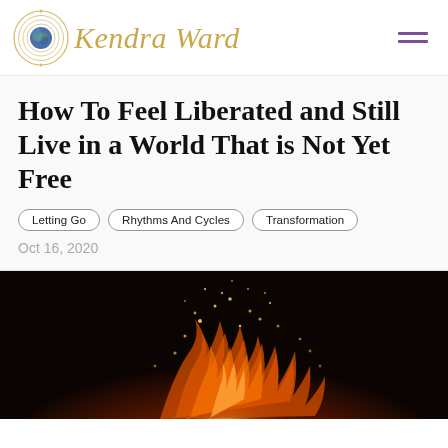Kendra Ward
How To Feel Liberated and Still Live in a World That is Not Yet Free
Letting Go
Rhythms And Cycles
Transformation
Oct 16, 2020
[Figure (photo): Dark photograph of fire or flames with glowing orange sparks and embers against a black background, showing a dramatic fire display]